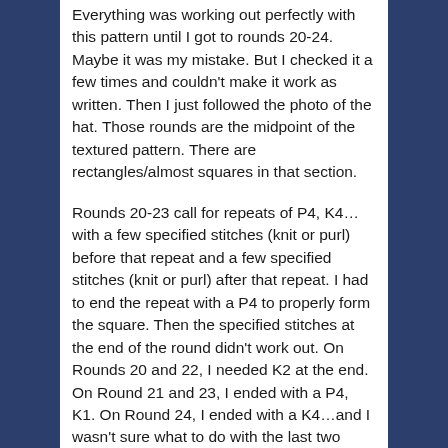Everything was working out perfectly with this pattern until I got to rounds 20-24. Maybe it was my mistake. But I checked it a few times and couldn't make it work as written. Then I just followed the photo of the hat. Those rounds are the midpoint of the textured pattern. There are rectangles/almost squares in that section.
Rounds 20-23 call for repeats of P4, K4…with a few specified stitches (knit or purl) before that repeat and a few specified stitches (knit or purl) after that repeat. I had to end the repeat with a P4 to properly form the square. Then the specified stitches at the end of the round didn't work out. On Rounds 20 and 22, I needed K2 at the end. On Round 21 and 23, I ended with a P4, K1. On Round 24, I ended with a K4…and I wasn't sure what to do with the last two stitches so I just K2.